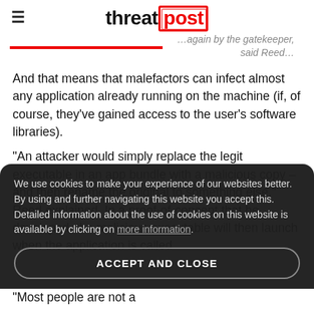threat post
…again by the gatekeeper, said Reed…
And that means that malefactors can infect almost any application already running on the machine (if, of course, they've gained access to the user's software libraries).
“An attacker would simply replace the legit executable in an app bundle with a malicious copy – and then rename the original to something else,” Reed explained. In a proof-of-concept that he developed, the malicious executable will then launch when the application is called
We use cookies to make your experience of our websites better. By using and further navigating this website you accept this. Detailed information about the use of cookies on this website is available by clicking on more information.
ACCEPT AND CLOSE
“Most people are not a